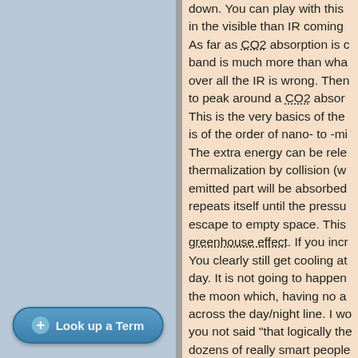down. You can play with this in the visible than IR coming . As far as CO2 absorption is c band is much more than wha over all the IR is wrong. Then to peak around a CO2 absor This is the very basics of the is of the order of nano- to -mi The extra energy can be rele thermalization by collision (w emitted part will be absorbed repeats itself until the pressu escape to empty space. This greenhouse effect. If you incr You clearly still get cooling at day. It is not going to happen the moon which, having no a across the day/night line. I w you not said "that logically th dozens of really smart people yourself "am i missing somet
10. ConcernedCitizen at 22:36
@Ricardo. #2 OK, lets ignore According to this, http://en.wi far more IR then the earth at saturates the CO2 in the atm earth? #4 OK, so you say tha
Look up a Term